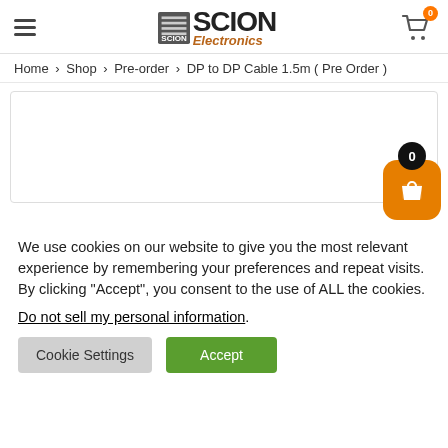SCION Electronics
Home > Shop > Pre-order > DP to DP Cable 1.5m ( Pre Order )
[Figure (screenshot): Product image placeholder area with orange floating cart button and badge showing 0]
We use cookies on our website to give you the most relevant experience by remembering your preferences and repeat visits. By clicking “Accept”, you consent to the use of ALL the cookies.
Do not sell my personal information.
Cookie Settings   Accept